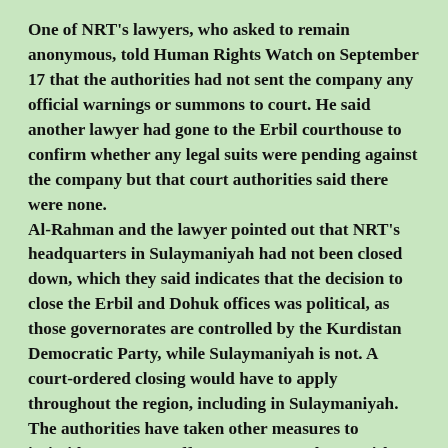One of NRT's lawyers, who asked to remain anonymous, told Human Rights Watch on September 17 that the authorities had not sent the company any official warnings or summons to court. He said another lawyer had gone to the Erbil courthouse to confirm whether any legal suits were pending against the company but that court authorities said there were none.
Al-Rahman and the lawyer pointed out that NRT's headquarters in Sulaymaniyah had not been closed down, which they said indicates that the decision to close the Erbil and Dohuk offices was political, as those governorates are controlled by the Kurdistan Democratic Party, while Sulaymaniyah is not. A court-ordered closing would have to apply throughout the region, including in Sulaymaniyah.
The authorities have taken other measures to intimidate NRT's staff. On August 19, the Asayish